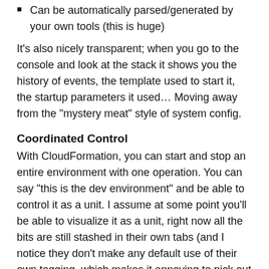Can be automatically parsed/generated by your own tools (this is huge)
It’s also nicely transparent; when you go to the console and look at the stack it shows you the history of events, the template used to start it, the startup parameters it used… Moving away from the “mystery meat” style of system config.
Coordinated Control
With CloudFormation, you can start and stop an entire environment with one operation. You can say “this is the dev environment” and be able to control it as a unit. I assume at some point you’ll be able to visualize it as a unit, right now all the bits are still stashed in their own tabs (and I notice they don’t make any default use of their own tagging, which makes it annoying to pick out what parts